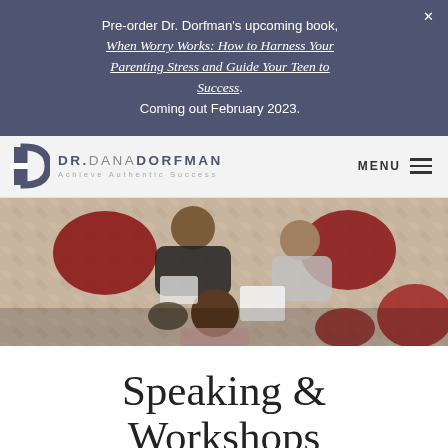Pre-order Dr. Dorfman's upcoming book, When Worry Works: How to Harness Your Parenting Stress and Guide Your Teen to Success. Coming out February 2023.
[Figure (logo): Dr. Dana Dorfman logo with stylized D icon and tagline 'Achieve Authentic Success']
[Figure (photo): Overhead/bird's-eye view of a group therapy or workshop session with people seated in chairs on a herringbone wood floor, with red chairs and notebooks visible]
Speaking & Workshops